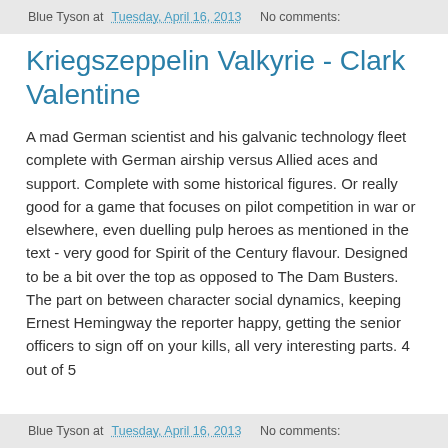Blue Tyson at Tuesday, April 16, 2013   No comments:
Kriegszeppelin Valkyrie - Clark Valentine
A mad German scientist and his galvanic technology fleet complete with German airship versus Allied aces and support. Complete with some historical figures. Or really good for a game that focuses on pilot competition in war or elsewhere, even duelling pulp heroes as mentioned in the text - very good for Spirit of the Century flavour. Designed to be a bit over the top as opposed to The Dam Busters. The part on between character social dynamics, keeping Ernest Hemingway the reporter happy, getting the senior officers to sign off on your kills, all very interesting parts. 4 out of 5
Blue Tyson at Tuesday, April 16, 2013   No comments: